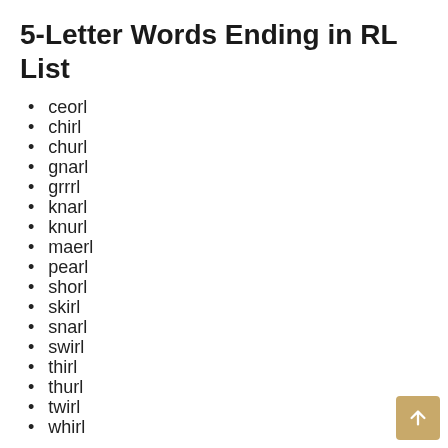5-Letter Words Ending in RL List
ceorl
chirl
churl
gnarl
grrrl
knarl
knurl
maerl
pearl
shorl
skirl
snarl
swirl
thirl
thurl
twirl
whirl